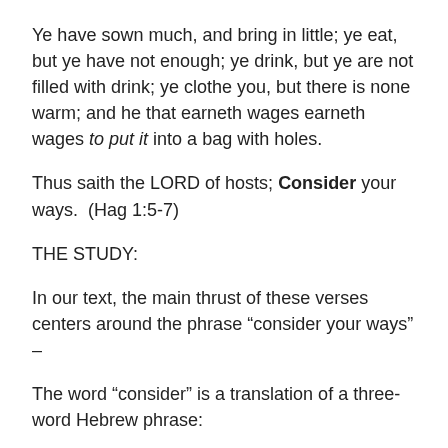Ye have sown much, and bring in little; ye eat, but ye have not enough; ye drink, but ye are not filled with drink; ye clothe you, but there is none warm; and he that earneth wages earneth wages to put it into a bag with holes.
Thus saith the LORD of hosts; Consider your ways.  (Hag 1:5-7)
THE STUDY:
In our text, the main thrust of these verses centers around the phrase “consider your ways” –
The word “consider” is a translation of a three-word Hebrew phrase:
1.   the first word of the phrase means “to consider, to